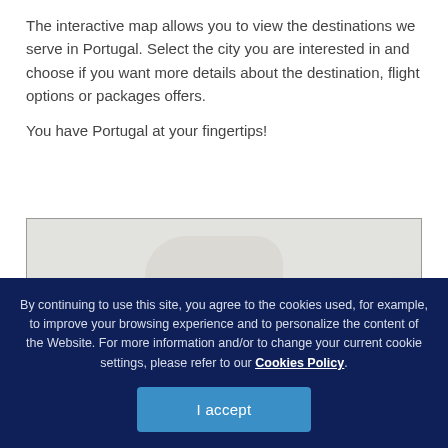The interactive map allows you to view the destinations we serve in Portugal. Select the city you are interested in and choose if you want more details about the destination, flight options or packages offers.

You have Portugal at your fingertips!
[Figure (map): Interactive map of Portugal destinations, shown as a light grey map area]
By continuing to use this site, you agree to the cookies used, for example, to improve your browsing experience and to personalize the content of the Website. For more information and/or to change your current cookie settings, please refer to our Cookies Policy.
I accept